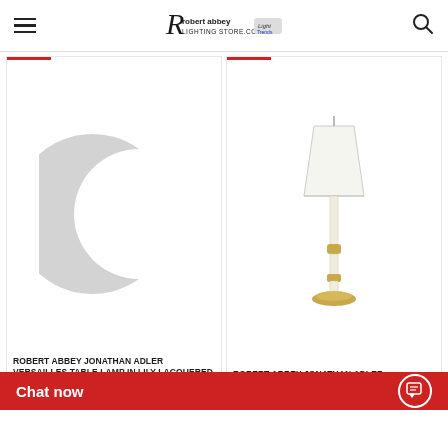Robert Abbey Lighting Store - navigation header with hamburger menu, logo, and search icon
[Figure (photo): Robert Abbey Jonathan Adler Versailles Table Lamp product image showing a partial crescent/circular gray silhouette shape on white background]
[Figure (photo): Robert Abbey Jonathan Adler Versailles Floor Lamp product image showing a tall white lamp with modern brass accents and a white tapered shade]
ROBERT ABBEY JONATHAN ADLER VERSAILLES TABLE LAMP IN LILY LACQUERED PAINT WITH MODERN BRASS ACCENTS W
$806.50  MSRP $1,051.50
ROBERT ABBEY JONATHAN ADLER VERSAILLES FLOOR LAMP IN LILY LACQUERED PAINT WITH
Chat now